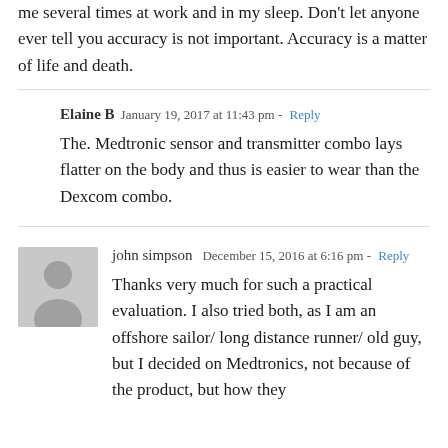me several times at work and in my sleep. Don't let anyone ever tell you accuracy is not important. Accuracy is a matter of life and death.
Elaine B  January 19, 2017 at 11:43 pm - Reply
The. Medtronic sensor and transmitter combo lays flatter on the body and thus is easier to wear than the Dexcom combo.
john simpson  December 15, 2016 at 6:16 pm - Reply
Thanks very much for such a practical evaluation. I also tried both, as I am an offshore sailor/ long distance runner/ old guy, but I decided on Medtronics, not because of the product, but how they